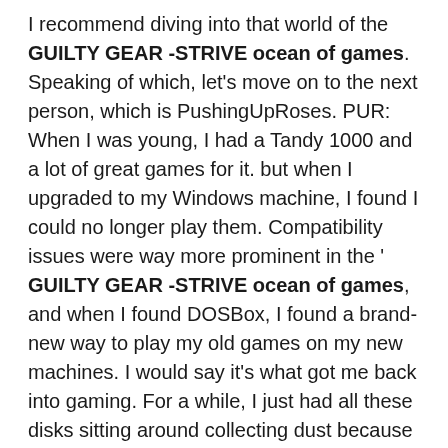I recommend diving into that world of the GUILTY GEAR -STRIVE ocean of games. Speaking of which, let's move on to the next person, which is PushingUpRoses. PUR: When I was young, I had a Tandy 1000 and a lot of great games for it. but when I upgraded to my Windows machine, I found I could no longer play them. Compatibility issues were way more prominent in the ' GUILTY GEAR -STRIVE ocean of games, and when I found DOSBox, I found a brand-new way to play my old games on my new machines. I would say it's what got me back into gaming. For a while, I just had all these disks sitting around collecting dust because my new machines could not play them. It's definitely the most accessible and affordable option, seeing as though it's free, and for me, it's the most efficient way to capture footage for my video work. I also really like GUILTY GEAR -STRIVE fitgirl repack, which is compatible with a lot of games, both for DOS and f...